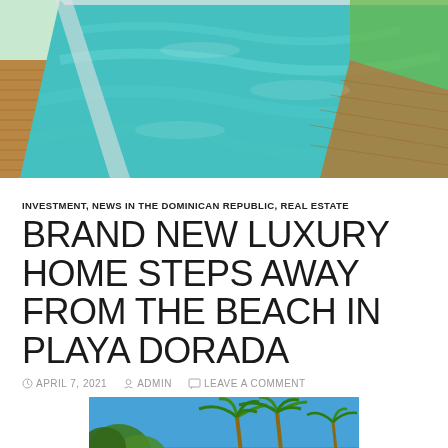[Figure (photo): Aerial view of a luxury rectangular swimming pool with turquoise water, wooden deck surround, and green lawn in background]
INVESTMENT, NEWS IN THE DOMINICAN REPUBLIC, REAL ESTATE
BRAND NEW LUXURY HOME STEPS AWAY FROM THE BEACH IN PLAYA DORADA
APRIL 7, 2021  ADMIN  LEAVE A COMMENT
[Figure (photo): Exterior view of a property with palm trees against a bright blue sky]